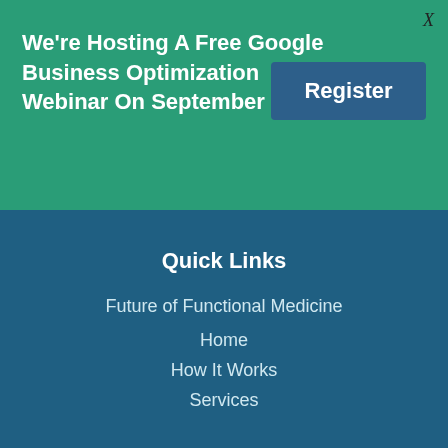We're Hosting A Free Google Business Optimization Webinar On September 9th!
Register
Quick Links
Future of Functional Medicine
Home
How It Works
Services
About
SEO Guide
Areas Served